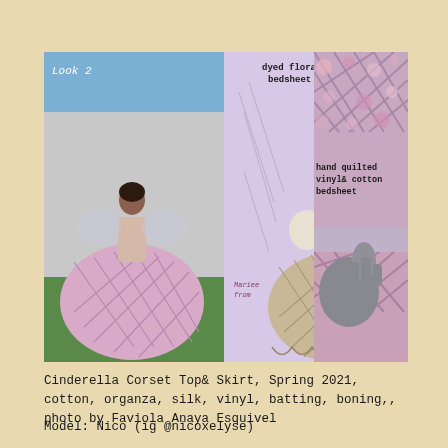[Figure (photo): A three-panel collage of fashion images. Left panel: photo of a model wearing a Cinderella-style gown with a quilted pink/lavender vinyl skirt and puffy organza sleeves, standing on grass in front of a house, labeled 'Look 2'. Center panel: fashion illustration/design sketch on lavender background of a woman in a ball gown with puff sleeves and large quilted skirt, annotated 'dyed floral bedsheet'. Right panel: close-up photo of hand-quilted pink vinyl and cotton bedsheet fabric, annotated 'hand quilted vinyl& cotton bedsheet'.]
Cinderella Corset Top& Skirt, Spring 2021, cotton, organza, silk, vinyl, batting, boning,, photo by Faviola Anaya Esquivel
Model: Nico (ig @nicoxelyse)